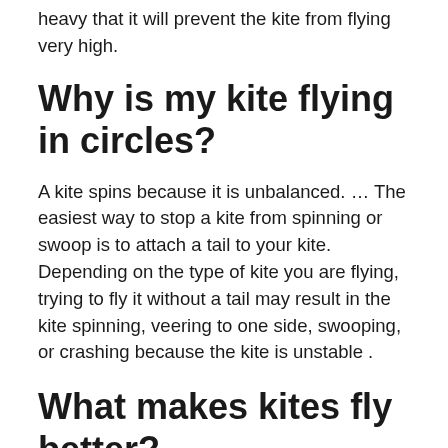heavy that it will prevent the kite from flying very high.
Why is my kite flying in circles?
A kite spins because it is unbalanced. … The easiest way to stop a kite from spinning or swoop is to attach a tail to your kite. Depending on the type of kite you are flying, trying to fly it without a tail may result in the kite spinning, veering to one side, swooping, or crashing because the kite is unstable .
What makes kites fly better?
Wind blowing against the kite's sail is blocked by the sail and is forced to move